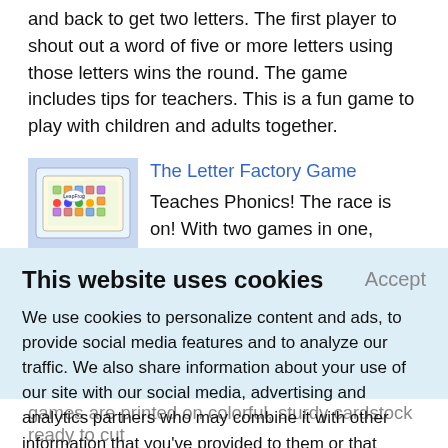and back to get two letters. The first player to shout out a word of five or more letters using those letters wins the round. The game includes tips for teachers. This is a fun game to play with children and adults together.
[Figure (illustration): Board game product image for The Letter Factory Game]
The Letter Factory Game
Teaches Phonics! The race is on! With two games in one, children play together and learn letter names and sounds with actions and music. Wacky Professor Quigley guides players every step of the way so no
This website uses cookies
Accept
We use cookies to personalize content and ads, to provide social media features and to analyze our traffic. We also share information about your use of our site with our social media, advertising and analytics partners who may combine it with other information that you've provided to them or that they've collected from your use of their services.
Learn More.
games are printed on colorful, sturdy cardstock ready to cut